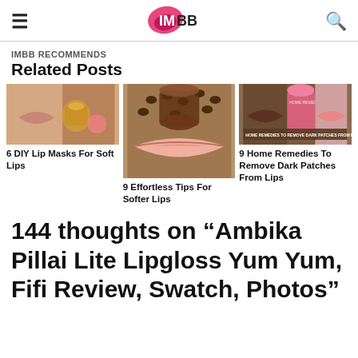IMBB
IMBB RECOMMENDS
Related Posts
[Figure (photo): Three related post thumbnails: lip masks with honey, coffee lip scrub with lips, and home remedies for dark patches on lips]
6 DIY Lip Masks For Soft Lips
9 Effortless Tips For Softer Lips
9 Home Remedies To Remove Dark Patches From Lips
144 thoughts on “Ambika Pillai Lite Lipgloss Yum Yum, Fifi Review, Swatch, Photos”